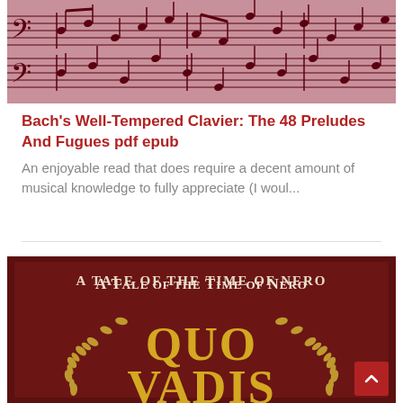[Figure (photo): Sheet music manuscript with pink/red tinted background showing handwritten musical notation]
Bach's Well-Tempered Clavier: The 48 Preludes And Fugues pdf epub
An enjoyable read that does require a decent amount of musical knowledge to fully appreciate (I woul...
[Figure (photo): Book cover with dark red/maroon background, text reading 'A Tale of the Time of Nero' at top and 'QUO VADIS' in large gold letters with golden laurel wreath decoration]